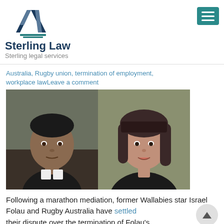[Figure (logo): Sterling Law logo with triangular geometric mark in navy/grey and company name]
Australia, Rugby union, termination of employment, workplace law Leave a comment
[Figure (photo): Side-by-side photo of Israel Folau (left, dark-skinned male in suit) and a woman with dark bob haircut (right)]
Following a marathon mediation, former Wallabies star Israel Folau and Rugby Australia have settled their dispute over the termination of Folau's